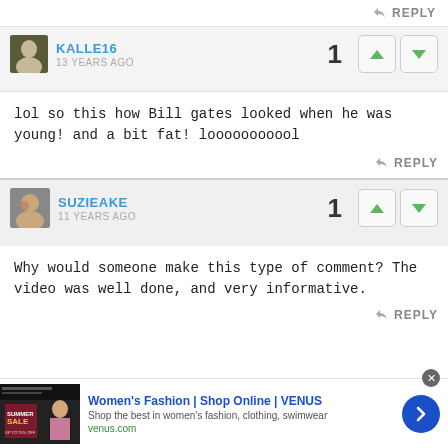REPLY
KALLE16
13 YEARS AGO
lol so this how Bill gates looked when he was young! and a bit fat! looooooooool
REPLY
SUZIEAKE
11 YEARS AGO
Why would someone make this type of comment? The video was well done, and very informative.
REPLY
Women's Fashion | Shop Online | VENUS
Shop the best in women's fashion, clothing, swimwear
venus.com